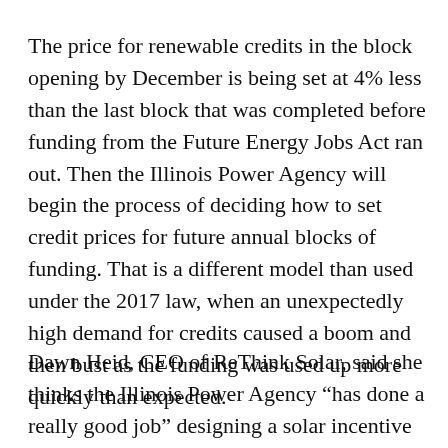The price for renewable credits in the block opening by December is being set at 4% less than the last block that was completed before funding from the Future Energy Jobs Act ran out. Then the Illinois Power Agency will begin the process of deciding how to set credit prices for future annual blocks of funding. That is a different model than used under the 2017 law, when an unexpectedly high demand for credits caused a boom and then bust as the funding was used up more quickly than expected.
Dawn Heid, CEO of ReThink Solar, said she thinks the Illinois Power Agency “has done a really good job” designing a solar incentive program that will